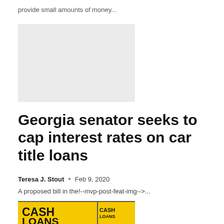provide small amounts of money...
[Figure (photo): Placeholder/blank image rectangle (light gray)]
Georgia senator seeks to cap interest rates on car title loans
Teresa J. Stout  •  Feb 9, 2020
A proposed bill in the!--mvp-post-feat-img-->...
[Figure (photo): Photo of a yellow cash loans sign with text CASH LOANS visible, taken from street level]